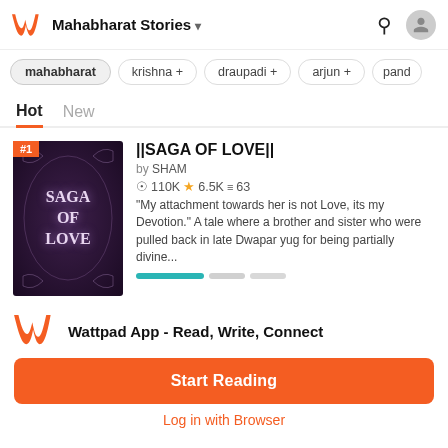Mahabharat Stories
mahabharat
krishna +
draupadi +
arjun +
pand
Hot  New
||SAGA OF LOVE||
by SHAM
110K  6.5Ki  63
"My attachment towards her is not Love, its my Devotion." A tale where a brother and sister who were pulled back in late Dwapar yug for being partially divine...
Wattpad App - Read, Write, Connect
Start Reading
Log in with Browser